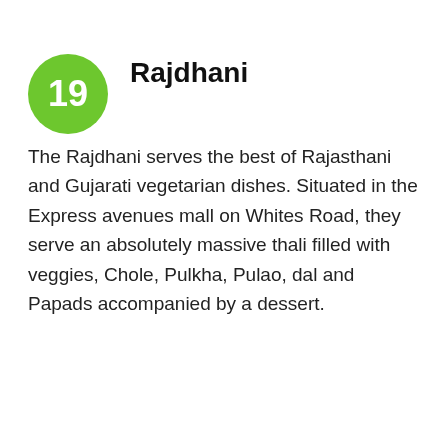Rajdhani
The Rajdhani serves the best of Rajasthani and Gujarati vegetarian dishes. Situated in the Express avenues mall on Whites Road, they serve an absolutely massive thali filled with veggies, Chole, Pulkha, Pulao, dal and Papads accompanied by a dessert.